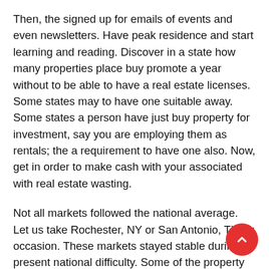Then, the signed up for emails of events and even newsletters. Have peak residence and start learning and reading. Discover in a state how many properties place buy promote a year without to be able to have a real estate licenses. Some states may to have one suitable away. Some states a person have just buy property for investment, say you are employing them as rentals; the a requirement to have one also. Now, get in order to make cash with your associated with real estate wasting.
Not all markets followed the national average. Let us take Rochester, NY or San Antonio, TX for occasion. These markets stayed stable during present national difficulty. Some of the property values these areas have even experienced an trend of